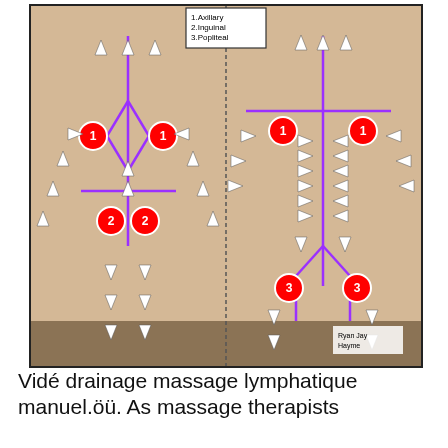[Figure (illustration): Medical illustration showing lymphatic drainage massage points on a female figure, front and back views. Purple lines mark lymphatic pathways. Red numbered circles indicate lymph node groups: 1=Axillary, 2=Inguinal, 3=Popliteal. White arrows show direction of massage strokes. A legend box in upper center lists: 1.Axillary, 2.Inguinal, 3.Popliteal. Credit: Ryan Jay Hayme.]
Vidéo drainage massage lymphatique manuel.öü. As massage therapists